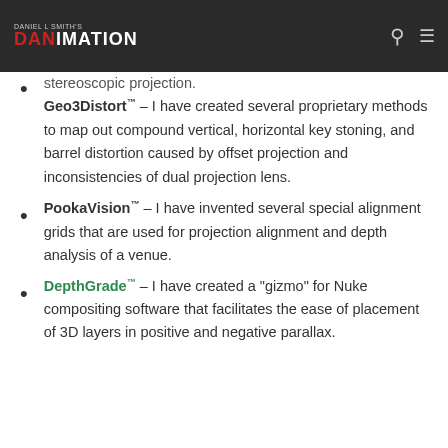Daniel L Smith's DANIMATION
Geo3Distort™ – I have created several proprietary methods to map out compound vertical, horizontal key stoning, and barrel distortion caused by offset projection and inconsistencies of dual projection lens.
PookaVision™ – I have invented several special alignment grids that are used for projection alignment and depth analysis of a venue.
DepthGrade™ – I have created a "gizmo" for Nuke compositing software that facilitates the ease of placement of 3D layers in positive and negative parallax.